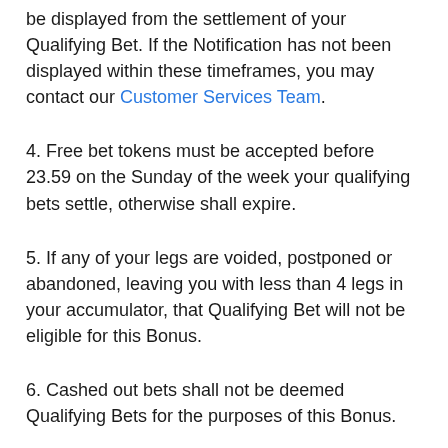be displayed from the settlement of your Qualifying Bet. If the Notification has not been displayed within these timeframes, you may contact our Customer Services Team.
4. Free bet tokens must be accepted before 23.59 on the Sunday of the week your qualifying bets settle, otherwise shall expire.
5. If any of your legs are voided, postponed or abandoned, leaving you with less than 4 legs in your accumulator, that Qualifying Bet will not be eligible for this Bonus.
6. Cashed out bets shall not be deemed Qualifying Bets for the purposes of this Bonus.